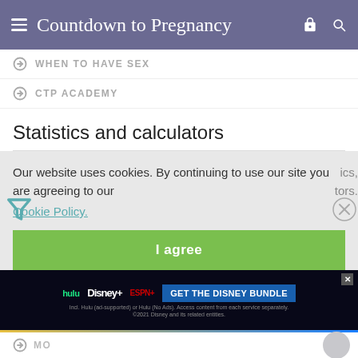Countdown to Pregnancy
WHEN TO HAVE SEX
CTP ACADEMY
Statistics and calculators
Our website uses cookies. By continuing to use our site you are agreeing to our Cookie Policy.
I agree
[Figure (screenshot): Disney Bundle advertisement banner with Hulu, Disney+, ESPN+ logos and GET THE DISNEY BUNDLE CTA button]
MO...